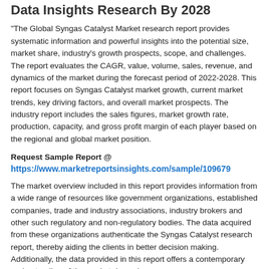Data Insights Research By 2028
"The Global Syngas Catalyst Market research report provides systematic information and powerful insights into the potential size, market share, industry's growth prospects, scope, and challenges. The report evaluates the CAGR, value, volume, sales, revenue, and dynamics of the market during the forecast period of 2022-2028. This report focuses on Syngas Catalyst market growth, current market trends, key driving factors, and overall market prospects. The industry report includes the sales figures, market growth rate, production, capacity, and gross profit margin of each player based on the regional and global market position.
Request Sample Report @
https://www.marketreportsinsights.com/sample/109679
The market overview included in this report provides information from a wide range of resources like government organizations, established companies, trade and industry associations, industry brokers and other such regulatory and non-regulatory bodies. The data acquired from these organizations authenticate the Syngas Catalyst research report, thereby aiding the clients in better decision making. Additionally, the data provided in this report offers a contemporary understanding of the market dynamics.